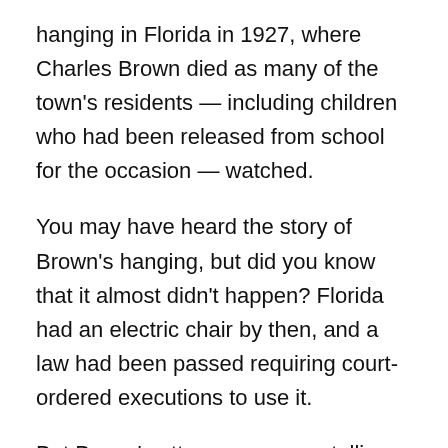hanging in Florida in 1927, where Charles Brown died as many of the town's residents — including children who had been released from school for the occasion — watched.
You may have heard the story of Brown's hanging, but did you know that it almost didn't happen? Florida had an electric chair by then, and a law had been passed requiring court-ordered executions to use it.
But Brown's attorney — as a stalling tactic in a long series of stalling tactics — argued all the way to the Florida Supreme Court that, since